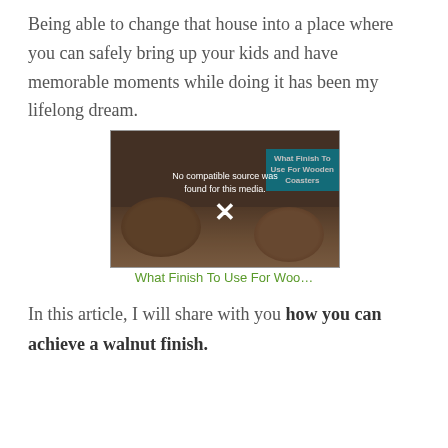Being able to change that house into a place where you can safely bring up your kids and have memorable moments while doing it has been my lifelong dream.
[Figure (screenshot): Video player showing wooden coasters with error message 'No compatible source was found for this media.' and X button overlay. Blue banner reads 'What Finish To Use For Wooden Coasters'.]
What Finish To Use For Woo…
In this article, I will share with you how you can achieve a walnut finish.